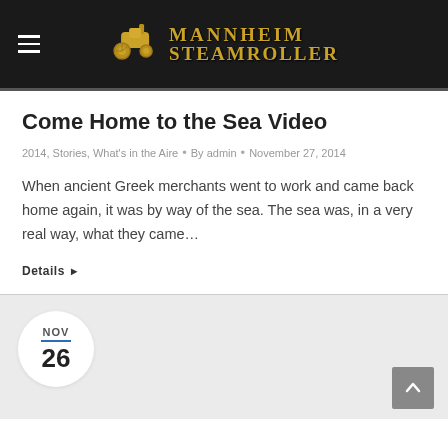MANNHEIM STEAMROLLER
Come Home to the Sea Video
2014, Stories, What's in the Aire • By admin • November 27, 2014
When ancient Greek merchants went to work and came back home again, it was by way of the sea. The sea was, in a very real way, what they came...
Details ▶
NOV 26